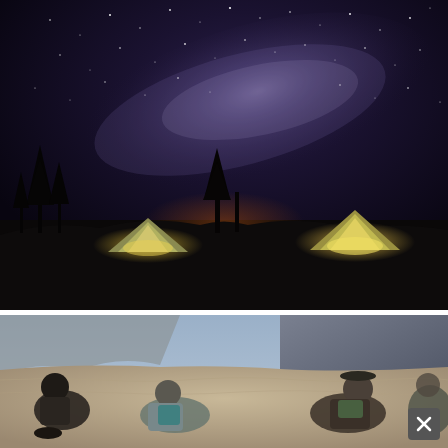[Figure (photo): Night sky photo with Milky Way galaxy visible overhead, two illuminated tents on a dark hillside with silhouetted trees and a warm glow on the horizon]
The Three Mistakes Campers Should Avoid When Picking a Place to Pitch a Tent
[Figure (photo): Daytime photo of people sitting on sandy/rocky terrain outdoors, appearing to be campers resting in a natural landscape]